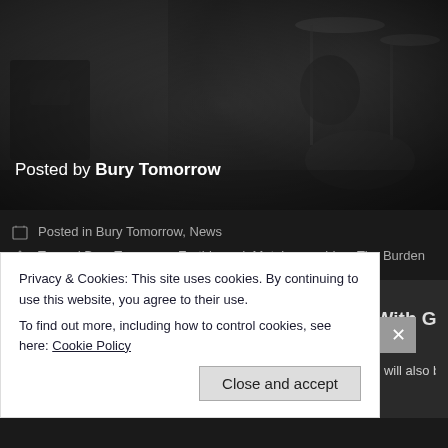[Figure (photo): Dark background photo of a drummer/drum kit on a stage, dimly lit with dark tones]
Posted by Bury Tomorrow
Posted in Bury Tomorrow, News
Tagged Bury Tomorrow, Earthbound, Metal, new video, The Burden
Amon Amarth Announce 2017 U.S. Tour With Goatwhore
Posted by caemanamelio on January 30, 2017
Amon Amarth have announced a U.S. headlining tour. The band will also be j
Privacy & Cookies: This site uses cookies. By continuing to use this website, you agree to their use.
To find out more, including how to control cookies, see here: Cookie Policy
Close and accept